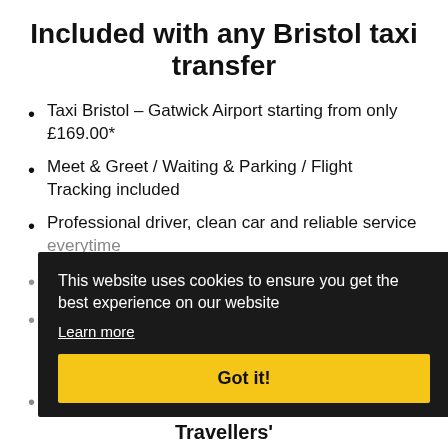Included with any Bristol taxi transfer
Taxi Bristol – Gatwick Airport starting from only £169.00*
Meet & Greet / Waiting & Parking / Flight Tracking included
Professional driver, clean car and reliable service everytime
Book a taxi within minutes and pay card (online)
Affordable prices and save money on each
Vehicles for up to 8 passengers + luggage available
[Figure (screenshot): Cookie consent overlay on dark background with 'This website uses cookies to ensure you get the best experience on our website', a 'Learn more' link, and a yellow 'Got it!' button]
Travellers'